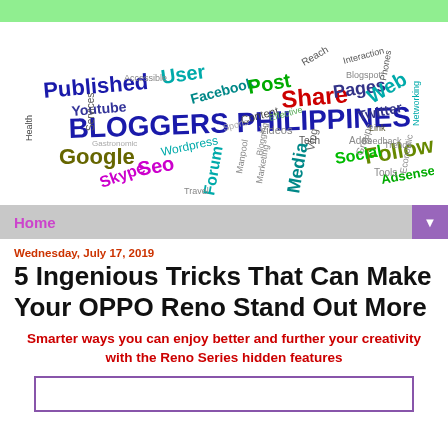[Figure (illustration): Bloggers Philippines word cloud logo with colorful words: Published, User, Facebook, Post, Share, Pages, Twitter, Web, Google, Seo, Forum, Media, Social, Follow, Adsense, Youtube, Skype, and many more social media and blogging related terms]
Home
Wednesday, July 17, 2019
5 Ingenious Tricks That Can Make Your OPPO Reno Stand Out More
Smarter ways you can enjoy better and further your creativity with the Reno Series hidden features